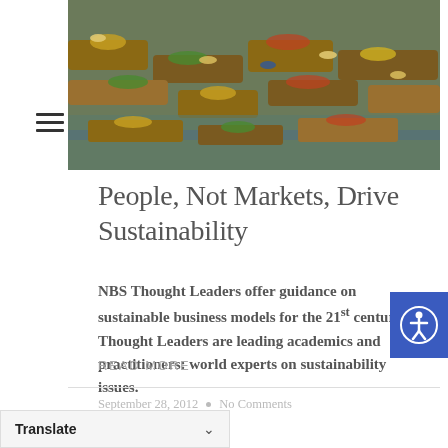[Figure (photo): Aerial view of a floating market with boats carrying colourful produce and people wearing hats]
People, Not Markets, Drive Sustainability
NBS Thought Leaders offer guidance on sustainable business models for the 21st century. Thought Leaders are leading academics and practitioners: world experts on sustainability issues.
READ MORE
September 28, 2012  •  No Comments
Translate